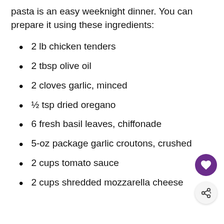pasta is an easy weeknight dinner. You can prepare it using these ingredients:
2 lb chicken tenders
2 tbsp olive oil
2 cloves garlic, minced
½ tsp dried oregano
6 fresh basil leaves, chiffonade
5-oz package garlic croutons, crushed
2 cups tomato sauce
2 cups shredded mozzarella cheese